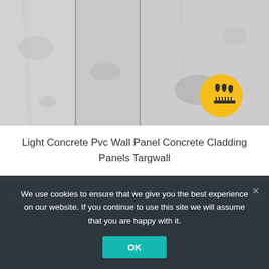[Figure (photo): Light grey concrete wall panels with vertical seams/joints, showing textured concrete cladding surface. A yellow circular badge icon with a water/rain resistance symbol (droplets above a surface) is overlaid in the bottom-right corner.]
Light Concrete Pvc Wall Panel Concrete Cladding Panels Targwall
[Figure (photo): Partial view of an interior room or building space with light-colored wall cladding panels and a ceiling visible, partially obscured by the cookie consent banner.]
We use cookies to ensure that we give you the best experience on our website. If you continue to use this site we will assume that you are happy with it.